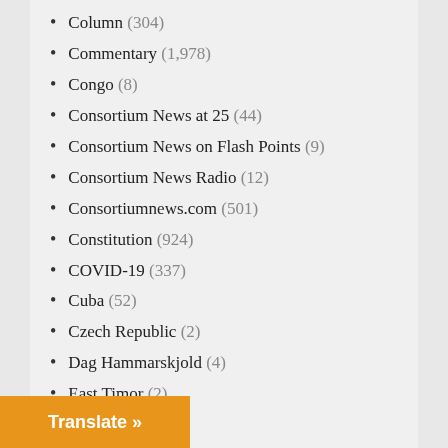Column (304)
Commentary (1,978)
Congo (8)
Consortium News at 25 (44)
Consortium News on Flash Points (9)
Consortium News Radio (12)
Consortiumnews.com (501)
Constitution (924)
COVID-19 (337)
Cuba (52)
Czech Republic (2)
Dag Hammarskjold (4)
East Timor (2)
Economy (176)
Ecuador (67)
Editorial (1)
Egypt (36)
Election 2016 (8)
(83)